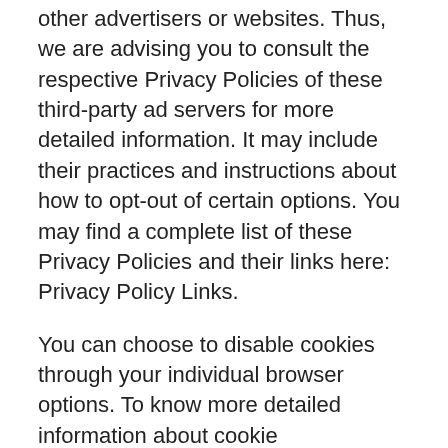other advertisers or websites. Thus, we are advising you to consult the respective Privacy Policies of these third-party ad servers for more detailed information. It may include their practices and instructions about how to opt-out of certain options. You may find a complete list of these Privacy Policies and their links here: Privacy Policy Links.
You can choose to disable cookies through your individual browser options. To know more detailed information about cookie management with specific web browsers, it can be found at the browsers' respective websites. What Are Cookies?
Children's Information
Another part of our priority is adding